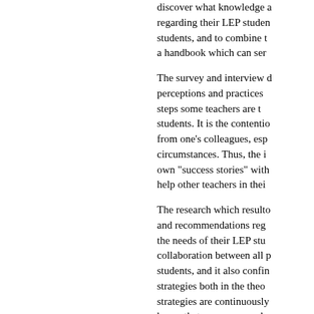discover what knowledge a regarding their LEP studen students, and to combine t a handbook which can ser
The survey and interview d perceptions and practices steps some teachers are t students. It is the contentio from one's colleagues, esp circumstances. Thus, the i own "success stories" with help other teachers in thei
The research which resulto and recommendations reg the needs of their LEP stu collaboration between all p students, and it also confin strategies both in the theo strategies are continuously hopes that a non-compreh strategies, will be useful fo
OCLC Number
51481425